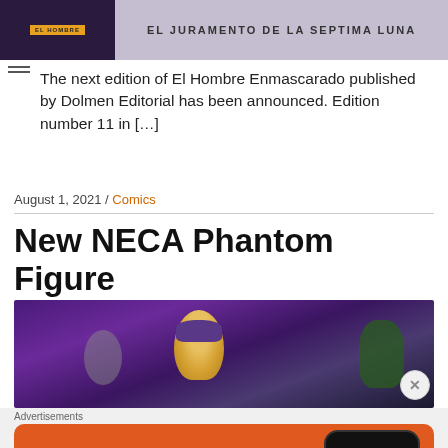[Figure (screenshot): Top banner image showing El Hombre Enmascarado comic book cover with text 'EL JURAMENTO DE LA SEPTIMA LUNA']
The next edition of El Hombre Enmascarado published by Dolmen Editorial has been announced. Edition number 11 in […]
August 1, 2021 / Comics
New NECA Phantom Figure
[Figure (photo): Purple-toned image of NECA Phantom action figures]
[Figure (screenshot): DuckDuckGo advertisement banner: Search, browse, and email with more privacy. All in One Free App.]